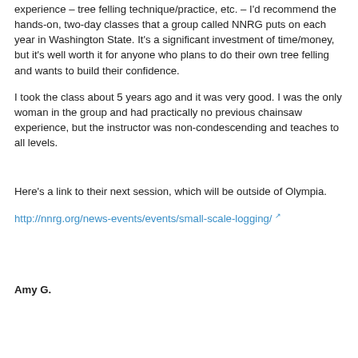experience – tree felling technique/practice, etc. – I'd recommend the hands-on, two-day classes that a group called NNRG puts on each year in Washington State. It's a significant investment of time/money, but it's well worth it for anyone who plans to do their own tree felling and wants to build their confidence.
I took the class about 5 years ago and it was very good. I was the only woman in the group and had practically no previous chainsaw experience, but the instructor was non-condescending and teaches to all levels.
Here's a link to their next session, which will be outside of Olympia.
http://nnrg.org/news-events/events/small-scale-logging/
Amy G.